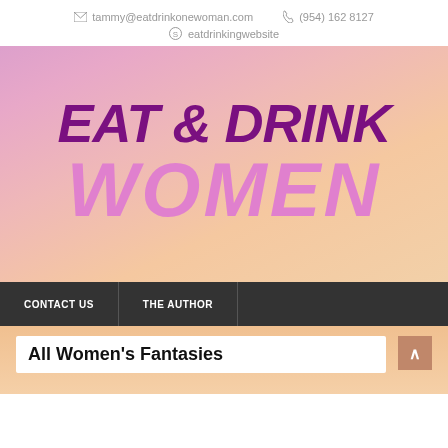✉ tammy@eatdrinkonewoman.com  ☎ (954) 162 8127  ⊙ eatdrinkingwebsite
[Figure (logo): Eat & Drink Women brand logo on pink-to-peach gradient background. Large italic bold purple text 'EAT & DRINK' on top, large italic bold light pink text 'WOMEN' below.]
CONTACT US  |  THE AUTHOR
All Women's Fantasies